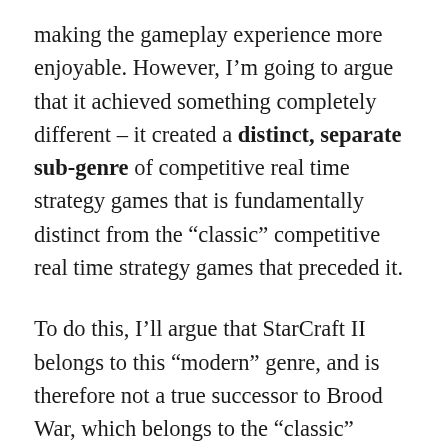making the gameplay experience more enjoyable. However, I'm going to argue that it achieved something completely different – it created a distinct, separate sub-genre of competitive real time strategy games that is fundamentally distinct from the "classic" competitive real time strategy games that preceded it.
To do this, I'll argue that StarCraft II belongs to this "modern" genre, and is therefore not a true successor to Brood War, which belongs to the "classic" genre. I'll also include numerous references to Age of Empires 2, which shares a